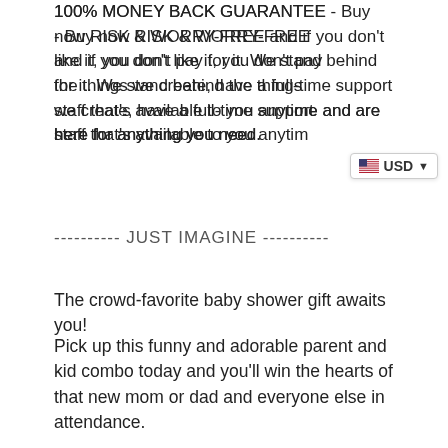100% MONEY BACK GUARANTEE - Buy now RISK & WORRY-FREE and if you don't like it, you don't pay for it. We stand behind the things we create, have a full-time support staff that's available to you anytime and are here for anything you need.
---------- JUST IMAGINE ----------
The crowd-favorite baby shower gift awaits you!
Pick up this funny and adorable parent and kid combo today and you'll win the hearts of that new mom or dad and everyone else in attendance.
Of course, this also makes the absolutely perfect Father's Day, Mother's Day, or no-reason gift for any new parent in your life!
You really can't beat this fun and memorable Captain & Admiral Combo!